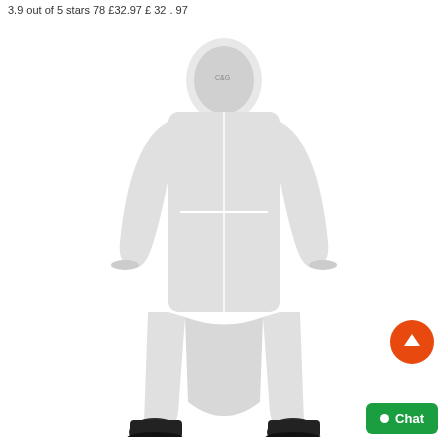3.9 out of 5 stars 78 £32.97 £ 32 . 97
[Figure (photo): Back view of a person wearing a white hooded protective coverall suit with black boots. The C&G brand logo is visible in the upper left area of the product image.]
Chat